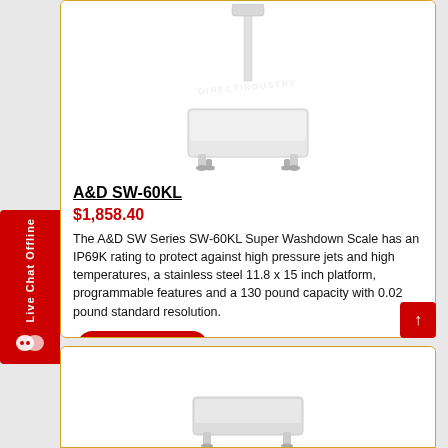[Figure (photo): A&D SW-60KL industrial washdown scale with stainless steel platform and tall pole-mounted display]
A&D SW-60KL
$1,858.40
The A&D SW Series SW-60KL Super Washdown Scale has an IP69K rating to protect against high pressure jets and high temperatures, a stainless steel 11.8 x 15 inch platform, programmable features and a 130 pound capacity with 0.02 pound standard resolution.
Learn More →
[Figure (photo): Partial view of a second product scale (bottom of page)]